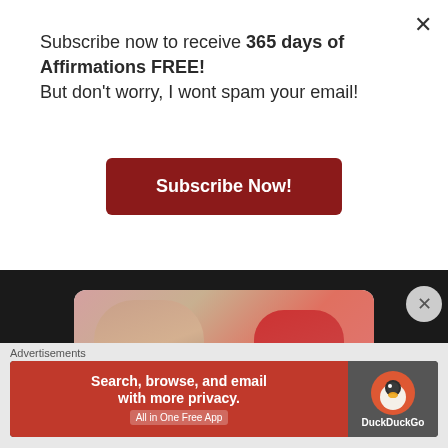Subscribe now to receive 365 days of Affirmations FREE! But don't worry, I wont spam your email!
Subscribe Now!
[Figure (photo): Two women sitting together, one facing away wearing a floral top, one in a red top facing forward wearing a necklace. Text overlay reading 'ING MY'. URL shown below: strongwithoutrealising.com]
strongwithoutrealising.com
Advertisements
[Figure (infographic): DuckDuckGo advertisement banner: 'Search, browse, and email with more privacy. All in One Free App' with DuckDuckGo logo on right side]